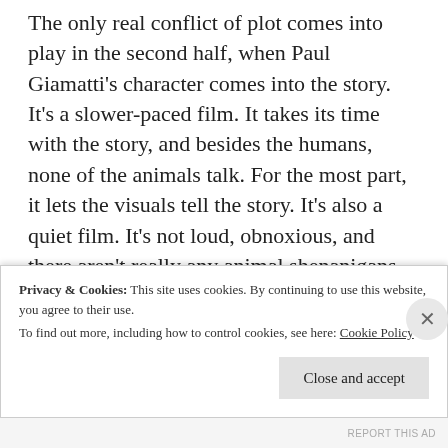The only real conflict of plot comes into play in the second half, when Paul Giamatti's character comes into the story. It's a slower-paced film. It takes its time with the story, and besides the humans, none of the animals talk. For the most part, it lets the visuals tell the story. It's also a quiet film. It's not loud, obnoxious, and there aren't really any animal shenanigans. It's like this film wanted to be everything anti-modern big Hollywood animation that isn't Disney or Pixar. It's a
Privacy & Cookies: This site uses cookies. By continuing to use this website, you agree to their use.
To find out more, including how to control cookies, see here: Cookie Policy
Close and accept
REPORT THIS AD